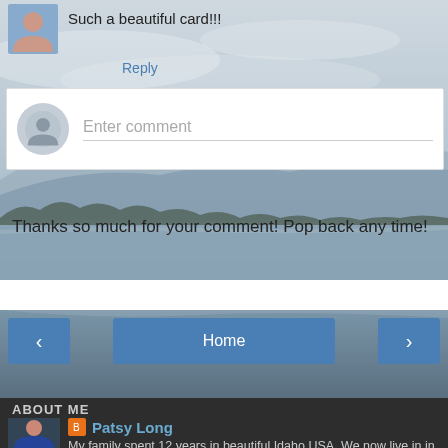Such a beautiful card!!!
Reply
Enter comment
Thanks so much for your comment! Pop back any time!
Home
View web version
ABOUT ME
Patsy Long
My family spent 12 years in beautiful Idaho,USA. We now live in in South Africa. We have 2 beautiful daughters, who are still studying. We are blessed to have built long lasting friendships worldwide. I enjoy spending my time scrapbooking, making cards,